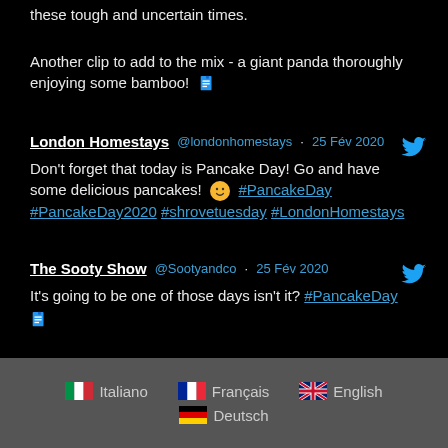these tough and uncertain times.
Another clip to add to the mix - a giant panda thoroughly enjoying some bamboo! 📄
London Homestays @londonhomestays · 25 Fév 2020
Don't forget that today is Pancake Day! Go and have some delicious pancakes! 😊 #PancakeDay #PancakeDay2020 #shrovetuesday #LondonHomestays
The Sooty Show @Sootyandco · 25 Fév 2020
It's going to be one of those days isn't it? #PancakeDay 📄
Italiano  Français  English  Deutsch